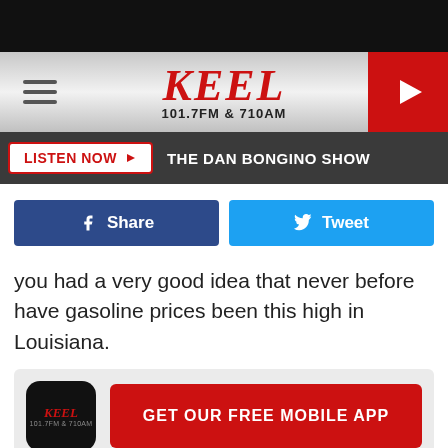KEEL 101.7FM & 710AM — THE DAN BONGINO SHOW
[Figure (screenshot): Facebook Share button (dark blue) and Twitter Tweet button (light blue)]
you had a very good idea that never before have gasoline prices been this high in Louisiana.
[Figure (infographic): KEEL app icon and GET OUR FREE MOBILE APP red button]
If you've made a trip to the pumps lately, you might have stood t... n